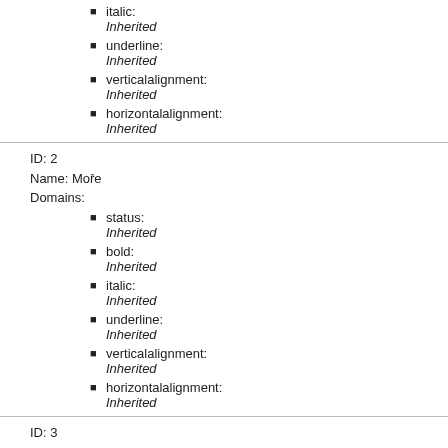italic:
Inherited
underline:
Inherited
verticalalignment:
Inherited
horizontalalignment:
Inherited
ID: 2
Name: Moře
Domains:
status:
Inherited
bold:
Inherited
italic:
Inherited
underline:
Inherited
verticalalignment:
Inherited
horizontalalignment:
Inherited
ID: 3